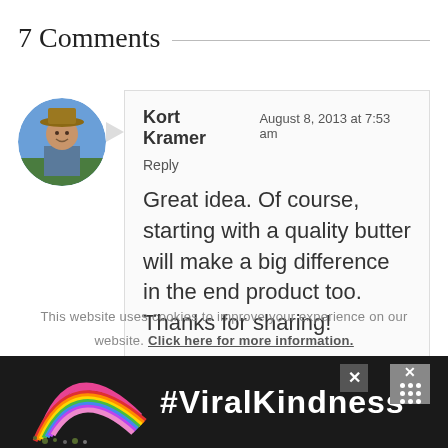7 Comments
Kort Kramer August 8, 2013 at 7:53 am
Reply
Great idea. Of course, starting with a quality butter will make a big difference in the end product too. Thanks for sharing!
This website uses cookies to improve your experience on our website. Click here for more information.
[Figure (infographic): Advertisement banner with rainbow illustration and #ViralKindness text on dark background, with close buttons]